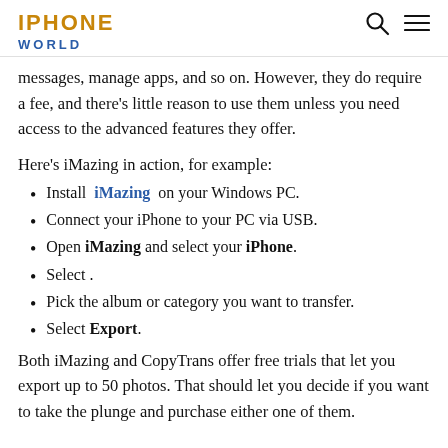IPHONE WORLD
messages, manage apps, and so on. However, they do require a fee, and there's little reason to use them unless you need access to the advanced features they offer.
Here's iMazing in action, for example:
Install iMazing on your Windows PC.
Connect your iPhone to your PC via USB.
Open iMazing and select your iPhone.
Select .
Pick the album or category you want to transfer.
Select Export.
Both iMazing and CopyTrans offer free trials that let you export up to 50 photos. That should let you decide if you want to take the plunge and purchase either one of them.